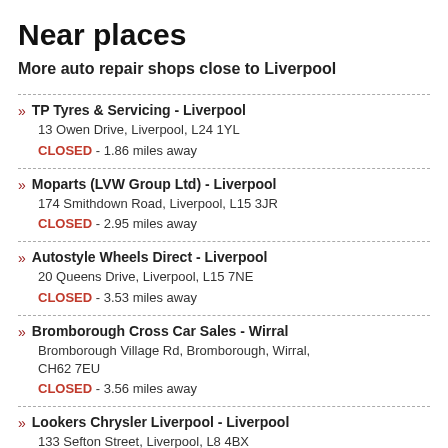Near places
More auto repair shops close to Liverpool
TP Tyres & Servicing - Liverpool
13 Owen Drive, Liverpool, L24 1YL
CLOSED - 1.86 miles away
Moparts (LVW Group Ltd) - Liverpool
174 Smithdown Road, Liverpool, L15 3JR
CLOSED - 2.95 miles away
Autostyle Wheels Direct - Liverpool
20 Queens Drive, Liverpool, L15 7NE
CLOSED - 3.53 miles away
Bromborough Cross Car Sales - Wirral
Bromborough Village Rd, Bromborough, Wirral, CH62 7EU
CLOSED - 3.56 miles away
Lookers Chrysler Liverpool - Liverpool
133 Sefton Street, Liverpool, L8 4BX
CLOSED - 3.63 miles away
Volkswagen Wirral - Wirral